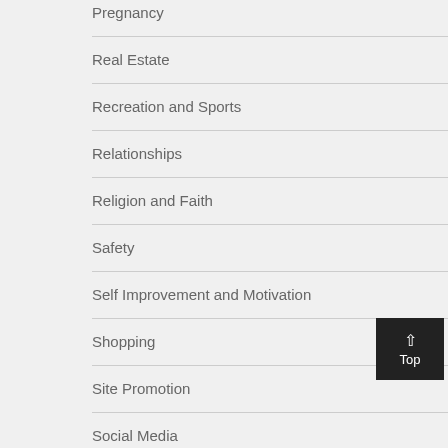Pregnancy
Real Estate
Recreation and Sports
Relationships
Religion and Faith
Safety
Self Improvement and Motivation
Shopping
Site Promotion
Social Media
Travel and Leisure